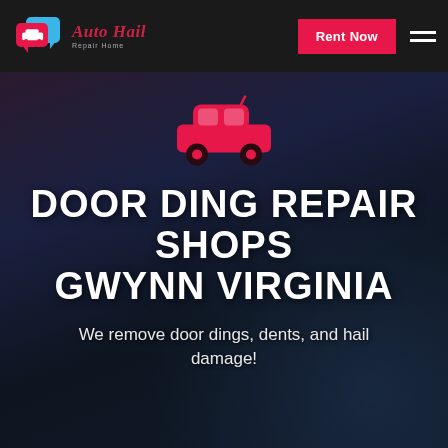Auto Hail Repair Home — Rent Now
[Figure (logo): Auto Hail Repair Home logo with chat bubble car icon and brand name in red italic script]
DOOR DING REPAIR SHOPS GWYNN VIRGINIA
We remove door dings, dents, and hail damage!